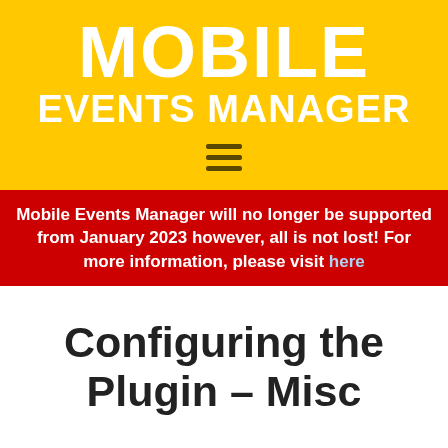MOBILE EVENTS MANAGER
[Figure (other): Hamburger menu icon (three horizontal lines)]
Mobile Events Manager will no longer be supported from January 2023 however, all is not lost! For more information, please visit here
Configuring the Plugin – Misc